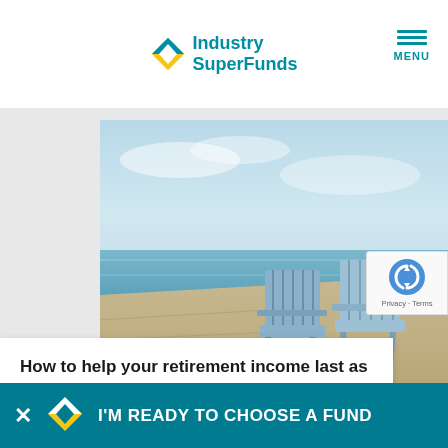[Figure (logo): Industry SuperFunds logo with teal and yellow diamond shape and teal text]
[Figure (photo): Two blue Adirondack chairs on a sandy beach facing the ocean under a cloudy blue sky]
How to help your retirement income last as long as you do
20 May 2019
I'M READY TO CHOOSE A FUND